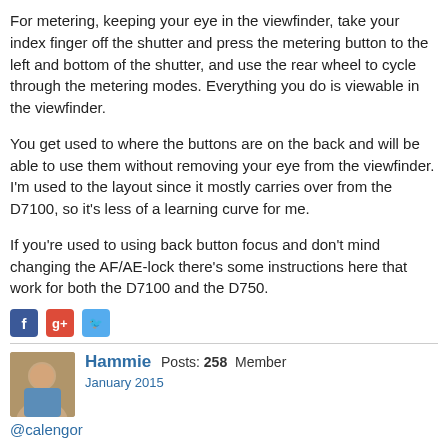For metering, keeping your eye in the viewfinder, take your index finger off the shutter and press the metering button to the left and bottom of the shutter, and use the rear wheel to cycle through the metering modes. Everything you do is viewable in the viewfinder.
You get used to where the buttons are on the back and will be able to use them without removing your eye from the viewfinder. I'm used to the layout since it mostly carries over from the D7100, so it's less of a learning curve for me.
If you're used to using back button focus and don't mind changing the AF/AE-lock there's some instructions here that work for both the D7100 and the D750.
[Figure (infographic): Social media share icons: Facebook (blue), Google+ (red), Twitter (blue)]
Hammie Posts: 258 Member
January 2015
@calengor
Oh, I agree that I will learn all the functions just as I did with my old camera. My old camera just had single finger functions to change most of those...